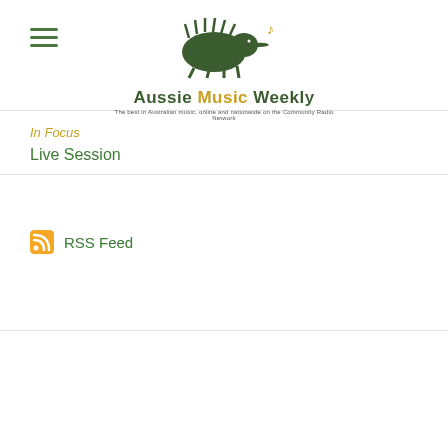[Figure (logo): Aussie Music Weekly logo with echidna silhouette and musical note. Text reads: Aussie Music Weekly. Tagline: The best in Australian music, online and nationwide on the Community Radio Network.]
In Focus
Live Session
RSS Feed